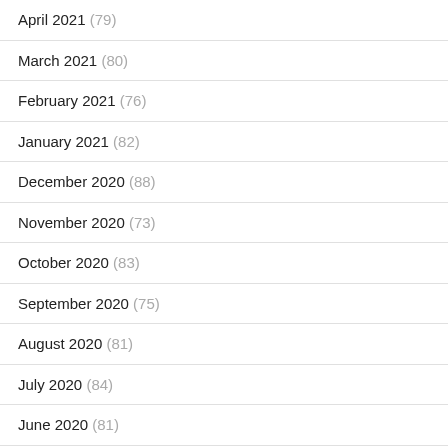April 2021 (79)
March 2021 (80)
February 2021 (76)
January 2021 (82)
December 2020 (88)
November 2020 (73)
October 2020 (83)
September 2020 (75)
August 2020 (81)
July 2020 (84)
June 2020 (81)